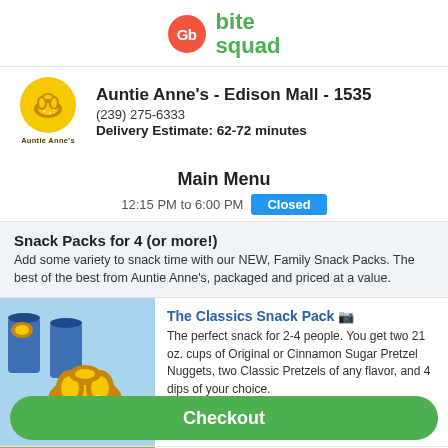[Figure (logo): GrubHub 'Gb' red circle logo and Bite Squad green text logo side by side]
Auntie Anne's - Edison Mall - 1535
(239) 275-6333
Delivery Estimate: 62-72 minutes
Main Menu
12:15 PM to 6:00 PM Closed
Snack Packs for 4 (or more!)
Add some variety to snack time with our NEW, Family Snack Packs. The best of the best from Auntie Anne's, packaged and priced at a value.
[Figure (photo): Photo of Auntie Anne's pretzels in cups with dipping sauces]
The Classics Snack Pack
The perfect snack for 2-4 people. You get two 21 oz. cups of Original or Cinnamon Sugar Pretzel Nuggets, two Classic Pretzels of any flavor, and 4 dips of your choice.
$25.00
Pretzel Nugget Bucket Snack Pack
Checkout